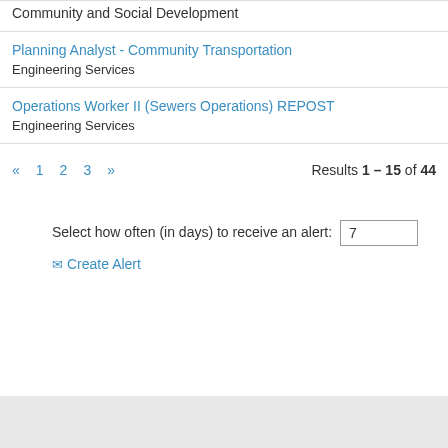Community and Social Development
Planning Analyst - Community Transportation
Engineering Services
Operations Worker II (Sewers Operations) REPOST
Engineering Services
« 1 2 3 »   Results 1 – 15 of 44
Select how often (in days) to receive an alert: 7
✉ Create Alert